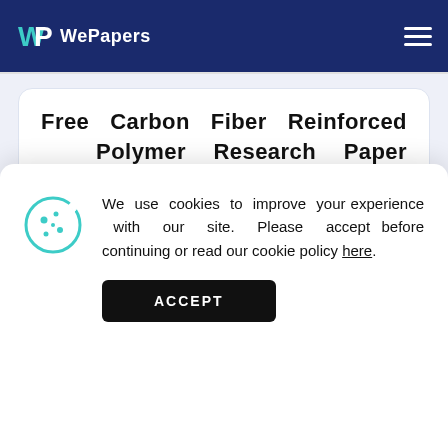WePapers
Free Carbon Fiber Reinforced Polymer Research Paper Example
We use cookies to improve your experience with our site. Please accept before continuing or read our cookie policy here.
ACCEPT
Moreover, the material that I researched, has much more superior properties than different materials. We are talking about carbon fiber. Fiber-reinforced polymer (FRP) composites are